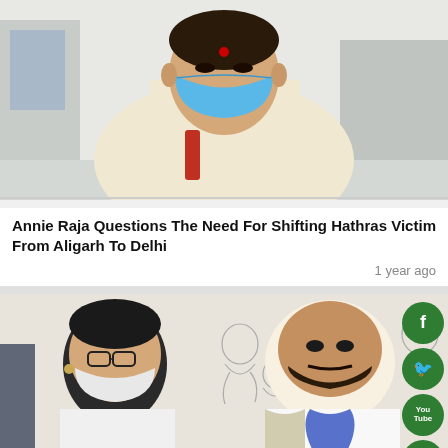[Figure (photo): Woman wearing a blue face mask and white saree with a red bindi, standing indoors near medical equipment]
Annie Raja Questions The Need For Shifting Hathras Victim From Aligarh To Delhi
1 year ago
[Figure (photo): Two people wearing face masks standing in front of a wall mural with sketched figures; social media buttons (Facebook, Twitter, YouTube, Instagram) visible on the right side]
Bhim Army Chief Demands Y Security For Hathras Victim Family Citing Threat From Upper Castes
1 year ago